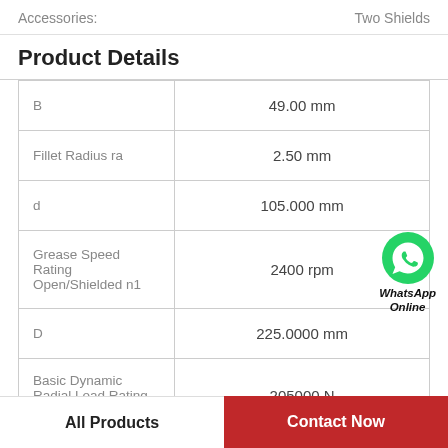Accessories: Two Shields
Product Details
| Property | Value |
| --- | --- |
| B | 49.00 mm |
| Fillet Radius ra | 2.50 mm |
| d | 105.000 mm |
| Grease Speed Rating Open/Shielded n1 | 2400 rpm |
| D | 225.0000 mm |
| Basic Dynamic Radial Load Rating C | 205000 N |
[Figure (logo): WhatsApp green circle icon with phone symbol, labeled 'WhatsApp Online']
All Products    Contact Now